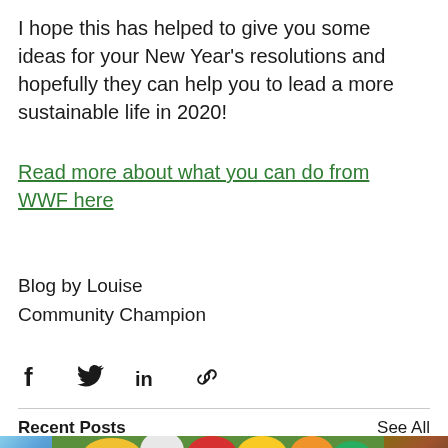I hope this has helped to give you some ideas for your New Year's resolutions and hopefully they can help you to lead a more sustainable life in 2020!
Read more about what you can do from WWF here
Blog by Louise
Community Champion
[Figure (other): Social share icons: Facebook, Twitter, LinkedIn, link/copy]
Recent Posts
See All
[Figure (photo): Three thumbnail images at the bottom: a sky/blue image on the left, a colorful vegetables photo in the center, and a brown/earth image on the right]